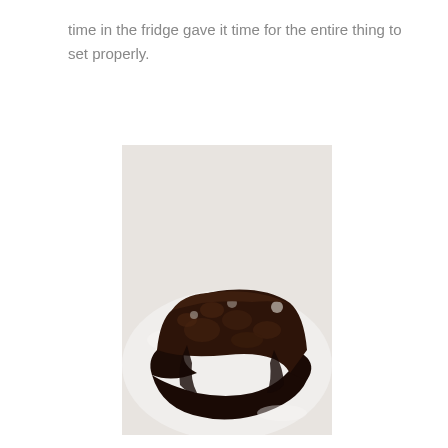time in the fridge gave it time for the entire thing to set properly.
[Figure (photo): A slice of dark chocolate cake with glossy chocolate ganache coating on the bottom and sides, showing moist crumb interior with mix-ins, served on a white plate]